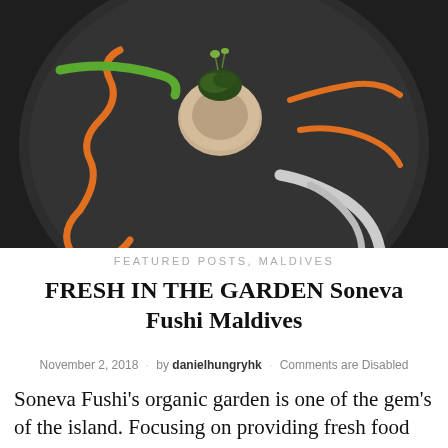[Figure (photo): A gourmet scallop dish plated on a dark round plate with orange sauce zigzag, green sauce swipe, and white cream swipe, garnished with microgreens on top.]
FEATURED POSTS, MALDIVES
FRESH IN THE GARDEN Soneva Fushi Maldives
November 2, 2018 · by danielhungryhk · Comments are Disabled
Soneva Fushi's organic garden is one of the gem's of the island. Focusing on providing fresh food that